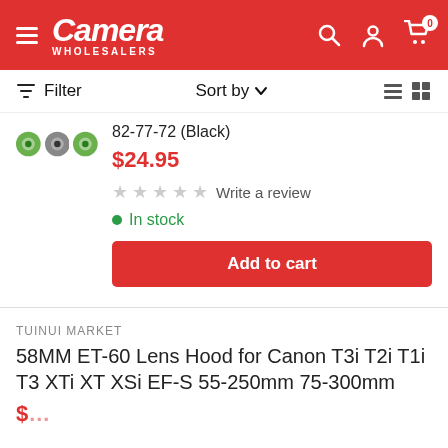Camera Wholesalers
Filter   Sort by
82-77-72 (Black)
$24.95
Write a review
In stock
Add to cart
TUINUI MARKET
58MM ET-60 Lens Hood for Canon T3i T2i T1i T3 XTi XT XSi EF-S 55-250mm 75-300mm